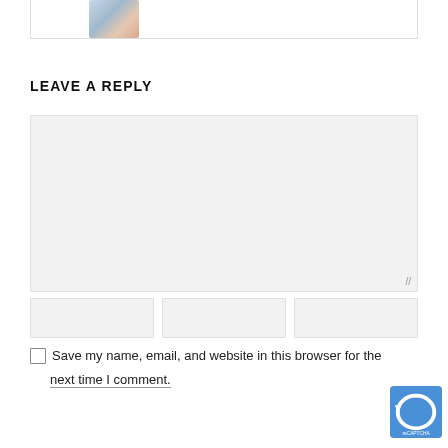[Figure (photo): Partial view of a person's photo/avatar at the top of the page, inside a bordered card]
LEAVE A REPLY
[Figure (other): Comment text area input box, light gray background with resize handle]
[Figure (other): Three input fields side by side (Name, Email, Website)]
Save my name, email, and website in this browser for the next time I comment.